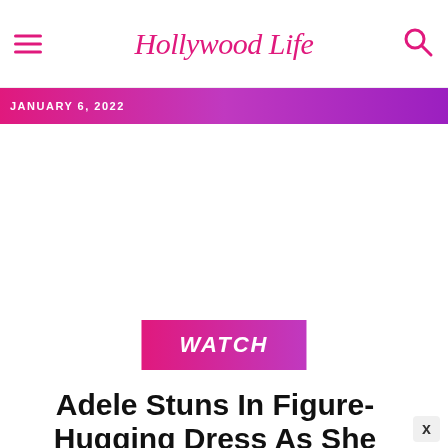HollywoodLife
JANUARY 6, 2022
[Figure (other): WATCH badge button with pink-to-purple gradient background and white italic bold text]
Adele Stuns In Figure-Hugging Dress As She Teases (She May Go ill